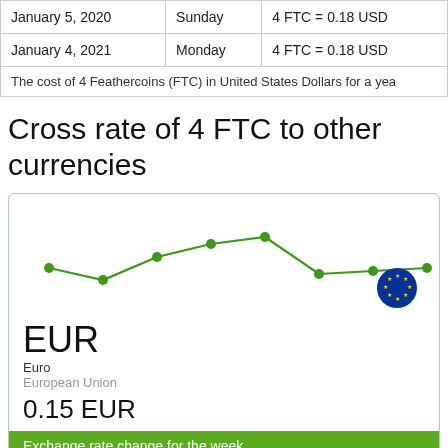| Date | Day | Rate |
| --- | --- | --- |
| January 5, 2020 | Sunday | 4 FTC = 0.18 USD |
| January 4, 2021 | Monday | 4 FTC = 0.18 USD |
| The cost of 4 Feathercoins (FTC) in United States Dollars for a yea |  |  |
Cross rate of 4 FTC to other currencies
[Figure (line-chart): FTC to EUR exchange rate weekly]
EUR
Euro
European Union
0.15 EUR
Exchange rate change for the week